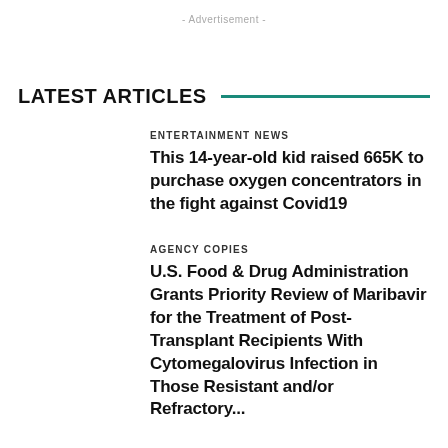- Advertisement -
LATEST ARTICLES
ENTERTAINMENT NEWS
This 14-year-old kid raised 665K to purchase oxygen concentrators in the fight against Covid19
AGENCY COPIES
U.S. Food & Drug Administration Grants Priority Review of Maribavir for the Treatment of Post-Transplant Recipients With Cytomegalovirus Infection in Those Resistant and/or Refractory...